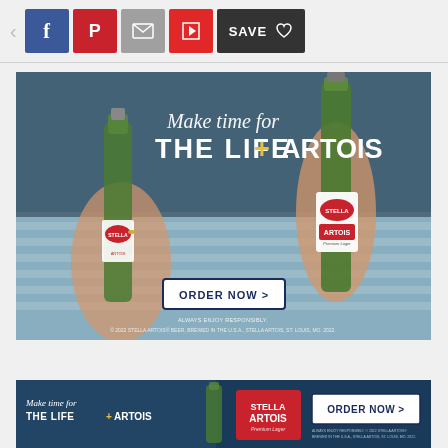[Figure (screenshot): Social media sharing toolbar with back arrow, Facebook, Pinterest, Email, Flipboard, and Save/Heart buttons on a light gray background]
[Figure (photo): Stella Artois advertisement: 'Make time for THE LIFE + ARTOIS' with beer bottles and ORDER NOW button. Footer: ALWAYS ENJOY RESPONSIBLY. © 2022 STELLA ARTOIS® BEER, BREWED IN THE U.S.A., STELLA ARTOIS, ST. LOUIS, MO. 2022.]
[Figure (photo): Stella Artois banner advertisement: 'Make time for THE LIFE ARTOIS' with Stella Artois logo and ORDER NOW button]